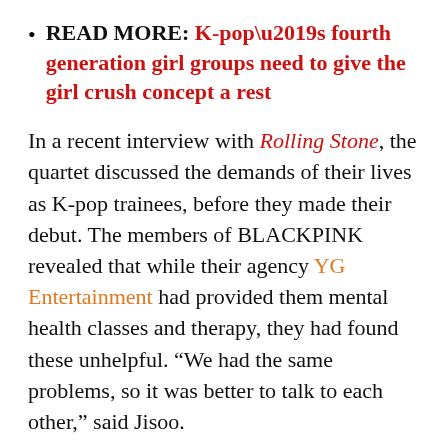READ MORE: K-pop’s fourth generation girl groups need to give the girl crush concept a rest
In a recent interview with Rolling Stone, the quartet discussed the demands of their lives as K-pop trainees, before they made their debut. The members of BLACKPINK revealed that while their agency YG Entertainment had provided them mental health classes and therapy, they had found these unhelpful. “We had the same problems, so it was better to talk to each other,” said Jisoo.
“If I was going through a hard time, I’d go to the bathroom, sob my heart out, then on to the next